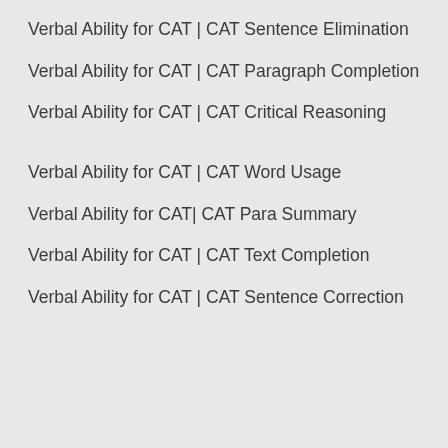Verbal Ability for CAT | CAT Sentence Elimination
Verbal Ability for CAT | CAT Paragraph Completion
Verbal Ability for CAT | CAT Critical Reasoning
Verbal Ability for CAT | CAT Word Usage
Verbal Ability for CAT| CAT Para Summary
Verbal Ability for CAT | CAT Text Completion
Verbal Ability for CAT | CAT Sentence Correction